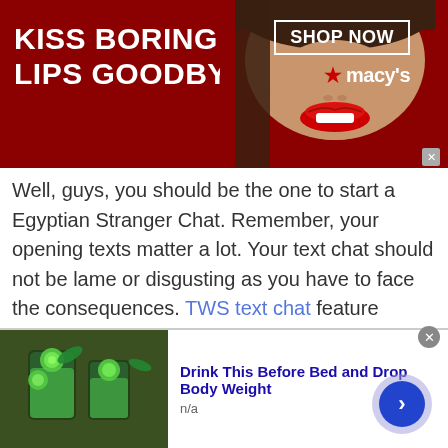[Figure (photo): Macy's advertisement banner with 'KISS BORING LIPS GOODBYE' text on dark red background, woman's face with red lips, SHOP NOW button, and Macy's star logo]
Well, guys, you should be the one to start a Egyptian Stranger Chat. Remember, your opening texts matter a lot. Your text chat should not be lame or disgusting as you have to face the consequences. TWS text chat feature enables users to send unlimited texts to their girlfriends and make them feel special.
[Figure (photo): Bottom ad widget showing green drink/smoothie image with text 'Drink This Before Bed and Drop Body Weight' and n/a label, with forward arrow button]